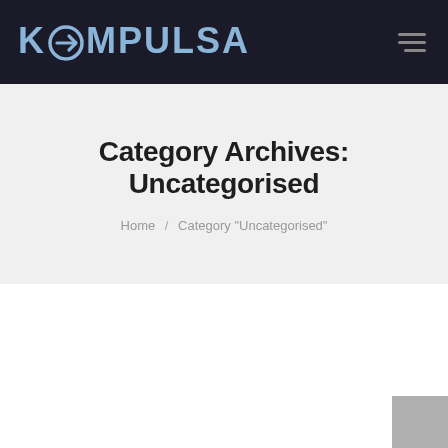KOMPULSA
Category Archives: Uncategorised
Home / Category "Uncategorised"